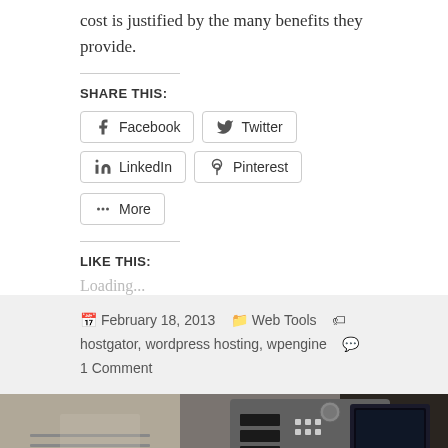cost is justified by the many benefits they provide.
SHARE THIS:
Facebook  Twitter  LinkedIn  Pinterest  More
LIKE THIS:
Loading...
February 18, 2013  Web Tools  hostgator, wordpress hosting, wpengine  1 Comment
[Figure (photo): Close-up photograph of server/networking hardware panel with buttons and indicators]